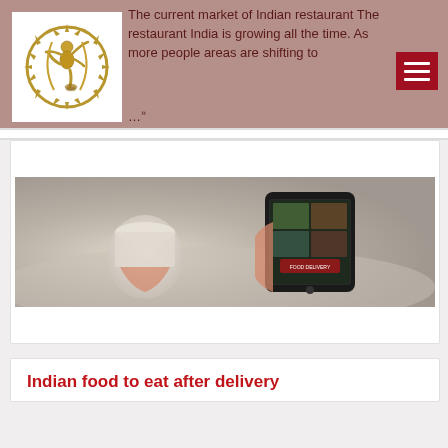The current market of Indian restaurant The restaurant India is growing all the time. As more people areas are shifting to …
[Figure (logo): Nataraja (dancing Shiva) bronze-colored circular medallion logo on white background]
[Figure (photo): A person holding a smartphone displaying a Food Delivery app, with a coffee cup in the background. Blurred restaurant/cafe setting.]
Indian food to eat after delivery